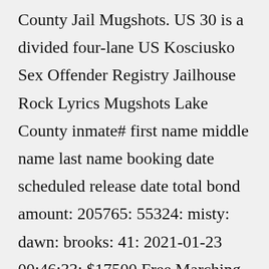County Jail Mugshots. US 30 is a divided four-lane US Kosciusko Sex Offender Registry Jailhouse Rock Lyrics Mugshots Lake County inmate# first name middle name last name booking date scheduled release date total bond amount: 205765: 55324: misty: dawn: brooks: 41: 2021-01-23 00:46:33: $17500 Free Marching Band Sheet Music Pdf inmate# first name middle name last name booking ...If you know someone being investigated in Kosciusko